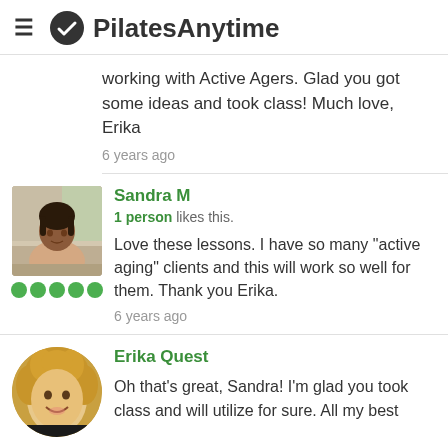PilatesAnytime
working with Active Agers. Glad you got some ideas and took class! Much love, Erika
6 years ago
Sandra M
1 person likes this.
Love these lessons. I have so many "active aging" clients and this will work so well for them. Thank you Erika.
6 years ago
Erika Quest
Oh that's great, Sandra! I'm glad you took class and will utilize for sure. All my best